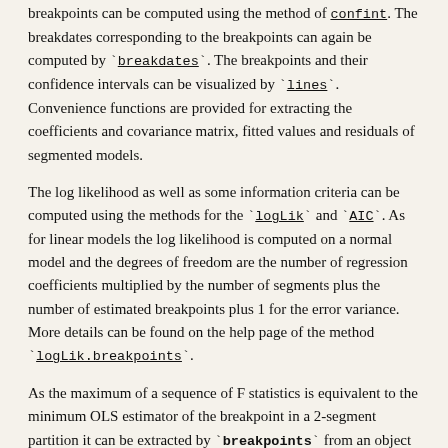breakpoints can be computed using the method of `confint`. The breakdates corresponding to the breakpoints can again be computed by `breakdates`. The breakpoints and their confidence intervals can be visualized by `lines`. Convenience functions are provided for extracting the coefficients and covariance matrix, fitted values and residuals of segmented models.
The log likelihood as well as some information criteria can be computed using the methods for the `logLik` and `AIC`. As for linear models the log likelihood is computed on a normal model and the degrees of freedom are the number of regression coefficients multiplied by the number of segments plus the number of estimated breakpoints plus 1 for the error variance. More details can be found on the help page of the method `logLik.breakpoints`.
As the maximum of a sequence of F statistics is equivalent to the minimum OLS estimator of the breakpoint in a 2-segment partition it can be extracted by `breakpoints` from an object of class `"Fstats"` as computed by `Fstats`. However, this cannot be used to extract a larger number of breakpoints.
For illustration see the commented examples below and Zeileis et al. (2003).